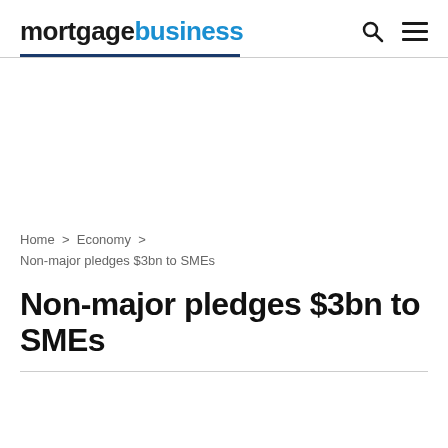mortgagebusiness
Home > Economy > Non-major pledges $3bn to SMEs
Non-major pledges $3bn to SMEs